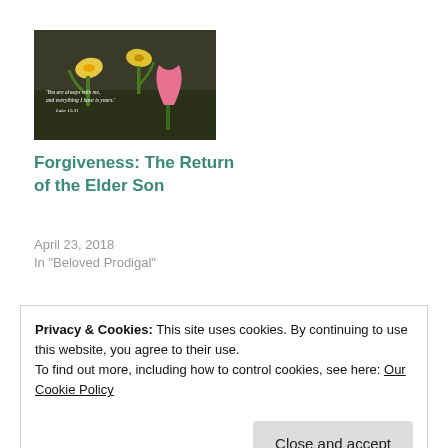[Figure (photo): Photo of daffodil and pink tulip flowers with a Bible verse overlay: 'You are always with me, and everything I have is yours.' Luke 15:31]
Forgiveness: The Return of the Elder Son
April 23, 2018
In "Beloved Prodigal"
Privacy & Cookies: This site uses cookies. By continuing to use this website, you agree to their use.
To find out more, including how to control cookies, see here: Our Cookie Policy
Close and accept